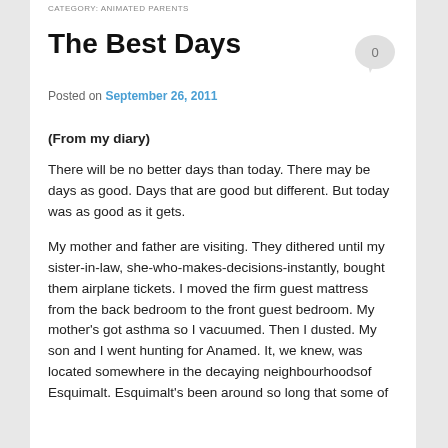CATEGORY: ANIMATED PARENTS
The Best Days
Posted on September 26, 2011
(From my diary)
There will be no better days than today. There may be days as good. Days that are good but different. But today was as good as it gets.
My mother and father are visiting. They dithered until my sister-in-law, she-who-makes-decisions-instantly, bought them airplane tickets. I moved the firm guest mattress from the back bedroom to the front guest bedroom. My mother's got asthma so I vacuumed. Then I dusted. My son and I went hunting for Anamed. It, we knew, was located somewhere in the decaying neighbourhoodsof Esquimalt. Esquimalt's been around so long that some of